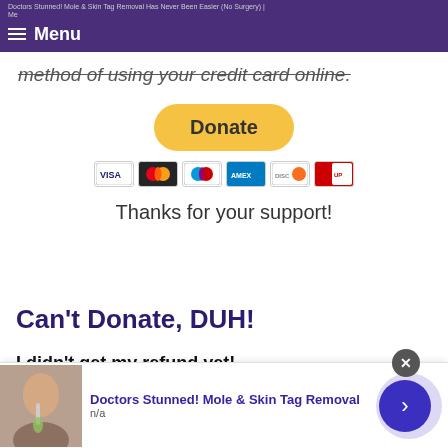Doctors Stunned! Mole & Skin Tag Removal Has Never Been Easier (No Surgery) | Menu
method of using your credit card online.
[Figure (other): PayPal Donate button with credit card icons (Visa, Mastercard, Maestro, American Express, Discover, UnionPay)]
Thanks for your support!
Can't Donate, DUH!
I didn't get my refund yet!
[Figure (other): Advertisement banner: Doctors Stunned! Mole & Skin Tag Removal, n/a, with image of person using tool on face, close button, and arrow button]